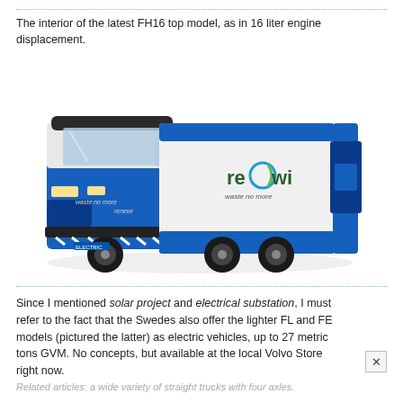The interior of the latest FH16 top model, as in 16 liter engine displacement.
[Figure (photo): Blue and white Volvo FE electric garbage truck branded with Renewi 'waste no more' livery, shown in three-quarter front view with rear loader body.]
Since I mentioned solar project and electrical substation, I must refer to the fact that the Swedes also offer the lighter FL and FE models (pictured the latter) as electric vehicles, up to 27 metric tons GVM. No concepts, but available at the local Volvo Store right now.
Related articles: a wide variety of straight trucks with four axles.